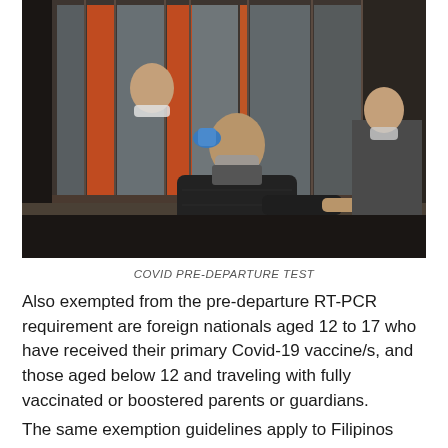[Figure (photo): A man in a dark puffer jacket and face mask stands at a window counter, interacting with a masked health worker inside. Another masked person stands in the background. Scene depicts a COVID pre-departure test site.]
COVID PRE-DEPARTURE TEST
Also exempted from the pre-departure RT-PCR requirement are foreign nationals aged 12 to 17 who have received their primary Covid-19 vaccine/s, and those aged below 12 and traveling with fully vaccinated or boostered parents or guardians.
The same exemption guidelines apply to Filipinos